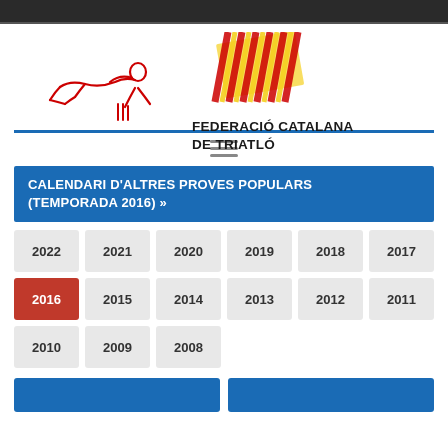[Figure (logo): Federació Catalana de Triatló logo with red triathlete figure and Catalan flag stripes in yellow and red]
FEDERACIÓ CATALANA DE TRIATLÓ
CALENDARI D'ALTRES PROVES POPULARS (TEMPORADA 2016) »
2022
2021
2020
2019
2018
2017
2016
2015
2014
2013
2012
2011
2010
2009
2008